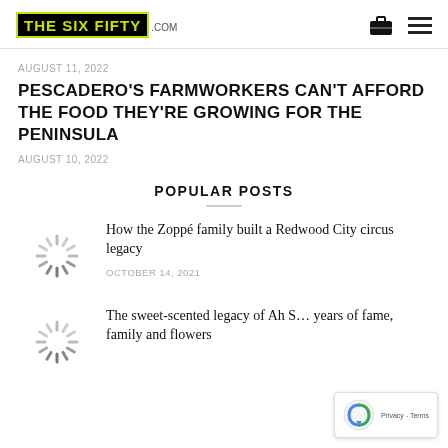THE SIX FIFTY .com
AUGUST 11, 2022
PESCADERO'S FARMWORKERS CAN'T AFFORD THE FOOD THEY'RE GROWING FOR THE PENINSULA
AUGUST 10, 2022
POPULAR POSTS
How the Zoppé family built a Redwood City circus legacy
OCTOBER 14, 2021
The sweet-scented legacy of Ah S… years of fame, family and flowers